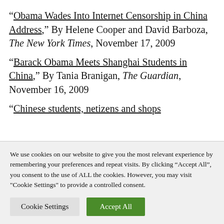“Obama Wades Into Internet Censorship in China Address,” By Helene Cooper and David Barboza, The New York Times, November 17, 2009
“Barack Obama Meets Shanghai Students in China,” By Tania Branigan, The Guardian, November 16, 2009
“Chinese students, netizens and shops
We use cookies on our website to give you the most relevant experience by remembering your preferences and repeat visits. By clicking “Accept All”, you consent to the use of ALL the cookies. However, you may visit "Cookie Settings" to provide a controlled consent.